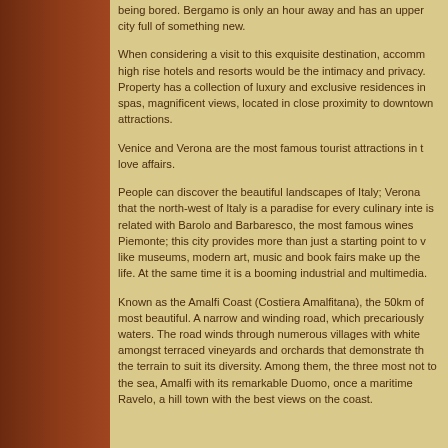being bored. Bergamo is only an hour away and has an upper city full of something new.
When considering a visit to this exquisite destination, accommodation high rise hotels and resorts would be the intimacy and privacy. Property has a collection of luxury and exclusive residences in spas, magnificent views, located in close proximity to downtown attractions.
Venice and Verona are the most famous tourist attractions in t love affairs.
People can discover the beautiful landscapes of Italy; Verona that the north-west of Italy is a paradise for every culinary inte is related with Barolo and Barbaresco, the most famous wines Piemonte; this city provides more than just a starting point to v like museums, modern art, music and book fairs make up the life. At the same time it is a booming industrial and multimedia.
Known as the Amalfi Coast (Costiera Amalfitana), the 50km of most beautiful. A narrow and winding road, which precariously waters. The road winds through numerous villages with white amongst terraced vineyards and orchards that demonstrate th the terrain to suit its diversity. Among them, the three most not to the sea, Amalfi with its remarkable Duomo, once a maritime Ravelo, a hill town with the best views on the coast.